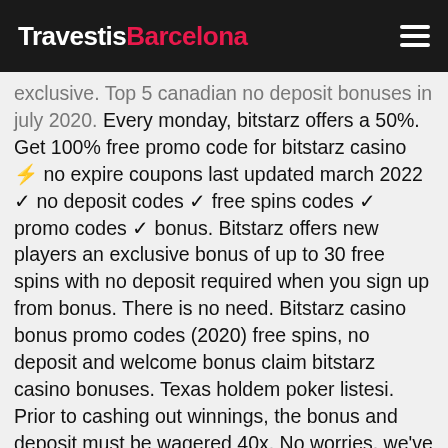TravestisBarcelona
exclusive. Top 5 canadian no deposit bonuses in july 2020. Every monday, bitstarz offers a 50%. Get 100% free promo code for bitstarz casino ⚡ no expire coupons last updated march 2022 ✓ no deposit codes ✓ free spins codes ✓ promo codes ✓ bonus. Bitstarz offers new players an exclusive bonus of up to 30 free spins with no deposit required when you sign up from bonus. There is no need. Bitstarz casino bonus promo codes (2020) free spins, no deposit and welcome bonus claim bitstarz casino bonuses. Texas holdem poker listesi. Prior to cashing out winnings, the bonus and deposit must be wagered 40x. No worries, we've got you covered! as a welcome bonus,. Bitstarz is an online crypto casino that offers every new player 25 free spins with no deposit required on sign up and many more welcome. Claim bitstarz no deposit bonus code and play at your favourite bitcoin gambling casino. The promo code is "limit". Bitstarz casino bonus codes ► exclusive 30 no